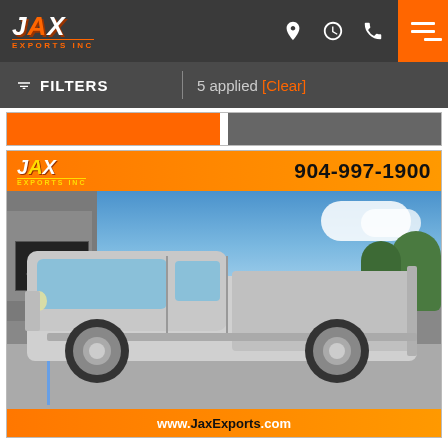JAX EXPORTS INC — navigation bar with logo, location/time/phone icons, hamburger menu
FILTERS | 5 applied [Clear]
[Figure (screenshot): Car listing card showing a silver Ford F-250 pickup truck at JAX Exports Inc dealership. Orange banner at top with JAX Exports Inc logo and phone number 904-997-1900. Photo of silver pickup truck parked in dealership lot with blue sky. Bottom orange banner with www.JaxExports.com]
904-997-1900
www.JaxExports.com